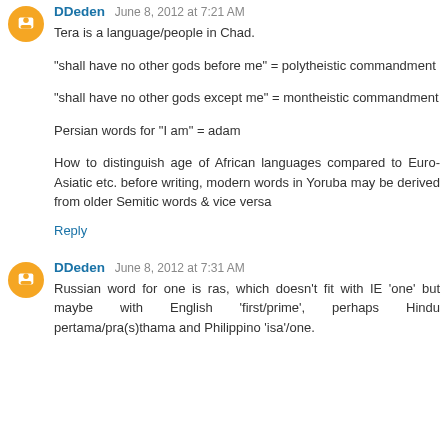DDeden June 8, 2012 at 7:21 AM
Tera is a language/people in Chad.
"shall have no other gods before me" = polytheistic commandment
"shall have no other gods except me" = montheistic commandment
Persian words for "I am" = adam
How to distinguish age of African languages compared to Euro-Asiatic etc. before writing, modern words in Yoruba may be derived from older Semitic words & vice versa
Reply
DDeden June 8, 2012 at 7:31 AM
Russian word for one is ras, which doesn't fit with IE 'one' but maybe with English 'first/prime', perhaps Hindu pertama/pra(s)thama and Philippino 'isa'/one.